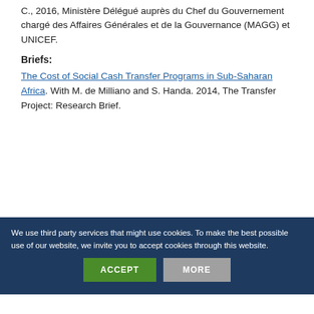C., 2016, Ministère Délégué auprès du Chef du Gouvernement chargé des Affaires Générales et de la Gouvernance (MAGG) et UNICEF.
Briefs:
The Cost of Social Cash Transfer Programs in Sub-Saharan Africa. With M. de Milliano and S. Handa. 2014, The Transfer Project: Research Brief.
We use third party services that might use cookies. To make the best possible use of our website, we invite you to accept cookies through this website.